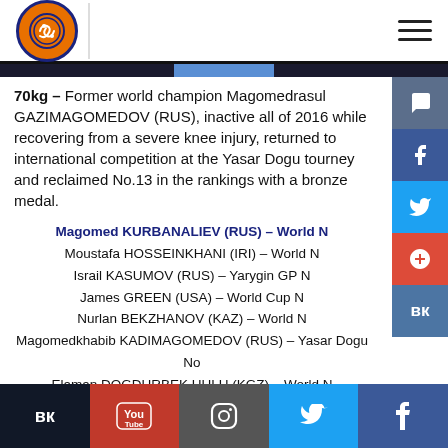Wrestling logo and navigation
70kg – Former world champion Magomedrasul GAZIMAGOMEDOV (RUS), inactive all of 2016 while recovering from a severe knee injury, returned to international competition at the Yasar Dogu tourney and reclaimed No.13 in the rankings with a bronze medal.
Magomed KURBANALIEV (RUS) – World N
Moustafa HOSSEINKHANI (IRI) – World N
Israil KASUMOV (RUS) – Yarygin GP N
James GREEN (USA) – World Cup N
Nurlan BEKZHANOV (KAZ) – World N
Magomedkhabib KADIMAGOMEDOV (RUS) – Yasar Dogu No
Elaman DOGDURBEK UULU (KGZ) – World N
Rashid KURBANOV (UZB) – World N
Zaurbek SIDAKOV (RUS) – Yarygin GP No
Nobuyoshi TAKOIJIMA (JPN) – World N